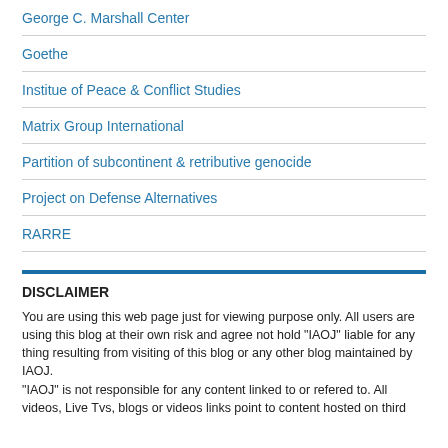George C. Marshall Center
Goethe
Institue of Peace & Conflict Studies
Matrix Group International
Partition of subcontinent & retributive genocide
Project on Defense Alternatives
RARRE
DISCLAIMER
You are using this web page just for viewing purpose only. All users are using this blog at their own risk and agree not hold "IAOJ" liable for any thing resulting from visiting of this blog or any other blog maintained by IAOJ.
"IAOJ" is not responsible for any content linked to or refered to. All videos, Live Tvs, blogs or videos links point to content hosted on third